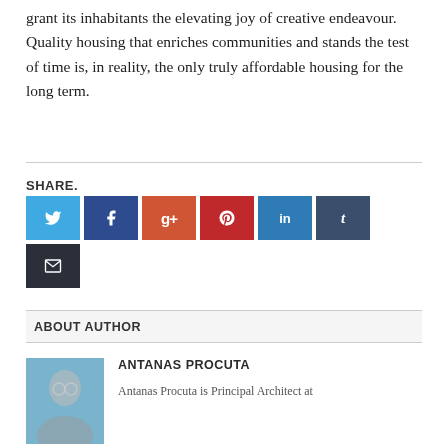grant its inhabitants the elevating joy of creative endeavour.  Quality housing that enriches communities and stands the test of time is, in reality, the only truly affordable housing for the long term.
SHARE.
[Figure (other): Social sharing buttons: Twitter, Facebook, Google+, Pinterest, LinkedIn, Tumblr, Email]
ABOUT AUTHOR
[Figure (photo): Portrait photo of Antanas Procuta, a man with glasses and a blue background]
ANTANAS PROCUTA
Antanas Procuta is Principal Architect at